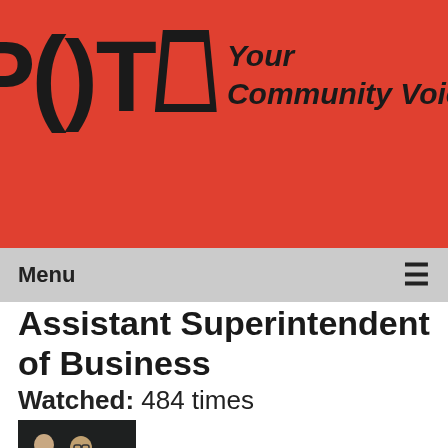[Figure (logo): PCTV logo with text 'Your Community Voice' on red background]
Menu ≡
Assistant Superintendent of Business
Watched: 484 times
[Figure (photo): Two people seated at a table in a meeting room]
The Board of Education Meeting o... 01.10.18...